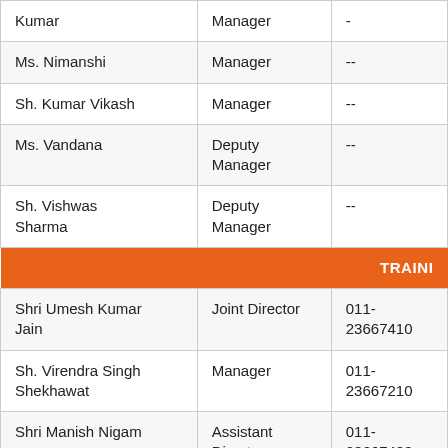| Name | Designation | Phone |
| --- | --- | --- |
| Kumar | Manager | - |
| Ms. Nimanshi | Manager | -- |
| Sh. Kumar Vikash | Manager | -- |
| Ms. Vandana | Deputy Manager | -- |
| Sh. Vishwas Sharma | Deputy Manager | -- |
| [TRAINI section header] |  |  |
| Shri Umesh Kumar Jain | Joint Director | 011-23667410 |
| Sh. Virendra Singh Shekhawat | Manager | 011-23667210 |
| Shri Manish Nigam | Assistant Director | 011-23667433 |